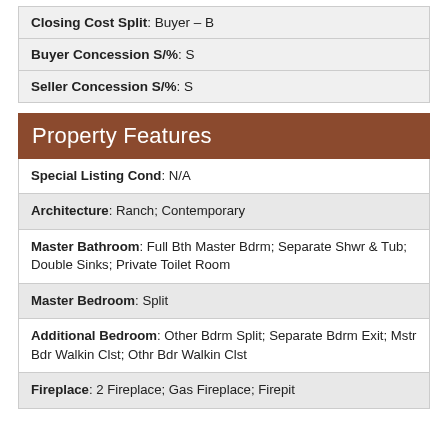| Closing Cost Split: Buyer – B |
| Buyer Concession S/%: S |
| Seller Concession S/%: S |
Property Features
| Special Listing Cond: N/A |
| Architecture: Ranch; Contemporary |
| Master Bathroom: Full Bth Master Bdrm; Separate Shwr & Tub; Double Sinks; Private Toilet Room |
| Master Bedroom: Split |
| Additional Bedroom: Other Bdrm Split; Separate Bdrm Exit; Mstr Bdr Walkin Clst; Othr Bdr Walkin Clst |
| Fireplace: 2 Fireplace; Gas Fireplace; Firepit |